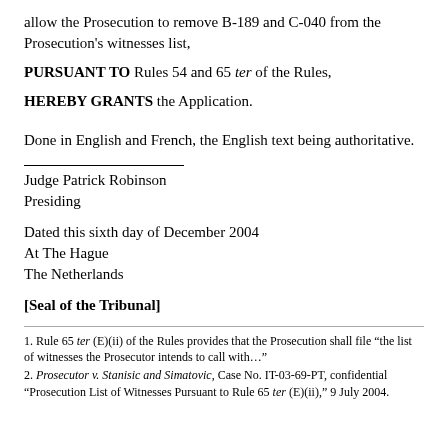allow the Prosecution to remove B-189 and C-040 from the Prosecution's witnesses list,
PURSUANT TO Rules 54 and 65 ter of the Rules,
HEREBY GRANTS the Application.
Done in English and French, the English text being authoritative.
Judge Patrick Robinson
Presiding
Dated this sixth day of December 2004
At The Hague
The Netherlands
[Seal of the Tribunal]
1. Rule 65 ter (E)(ii) of the Rules provides that the Prosecution shall file "the list of witnesses the Prosecutor intends to call with…"
2. Prosecutor v. Stanisic and Simatovic, Case No. IT-03-69-PT, confidential "Prosecution List of Witnesses Pursuant to Rule 65 ter (E)(ii)," 9 July 2004.